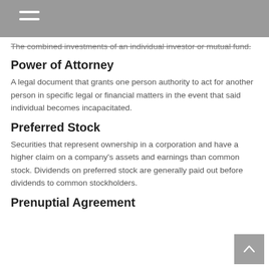The combined investments of an individual investor or mutual fund.
Power of Attorney
A legal document that grants one person authority to act for another person in specific legal or financial matters in the event that said individual becomes incapacitated.
Preferred Stock
Securities that represent ownership in a corporation and have a higher claim on a company's assets and earnings than common stock. Dividends on preferred stock are generally paid out before dividends to common stockholders.
Prenuptial Agreement